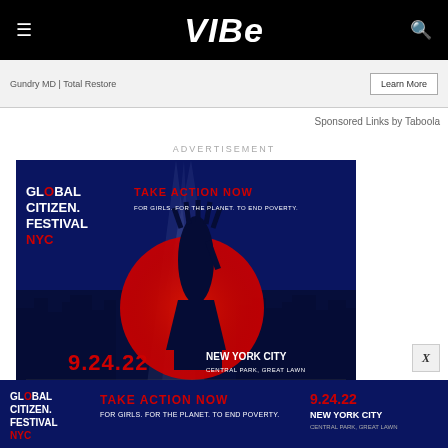VIBE
Gundry MD | Total Restore
Learn More
Sponsored Links by Taboola
ADVERTISEMENT
[Figure (illustration): Global Citizen Festival NYC advertisement. Dark blue background with NYC skyline silhouette. Red circular glowing element with Statue of Liberty guitar silhouette. Text: GLOBAL CITIZEN FESTIVAL NYC | TAKE ACTION NOW | FOR GIRLS. FOR THE PLANET. TO END POVERTY. | 9.24.22 | NEW YORK CITY CENTRAL PARK, GREAT LAWN | A FREE TICKETED EVENT | GLOBALCITIZENFESTIVAL.NYC]
[Figure (illustration): Global Citizen Festival bottom banner ad. Dark blue background. Text: GLOBAL CITIZEN FESTIVAL NYC | TAKE ACTION NOW | FOR GIRLS. FOR THE PLANET. TO END POVERTY. | 9.24.22 | NEW YORK CITY CENTRAL PARK, GREAT LAWN]